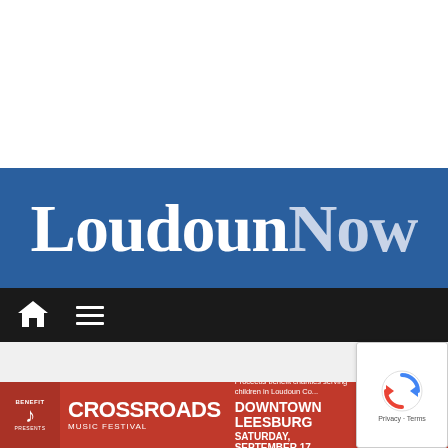[Figure (logo): LoudounNow newspaper logo — white text on blue background, serif font, 'Now' in lighter steel blue]
[Figure (screenshot): Navigation bar with home icon and hamburger menu icon on dark background]
[Figure (photo): Crossroads Music Festival advertisement banner — red background, showing 'BENEFIT PRESENTS', crossroads guitar logo, 'CROSSROADS MUSIC FESTIVAL', text 'Proceeds benefit charities serving children in Loudoun Co...', 'DOWNTOWN LEESBURG', 'SATURDAY SEPTEMBER 17'. reCAPTCHA badge visible in bottom right.]